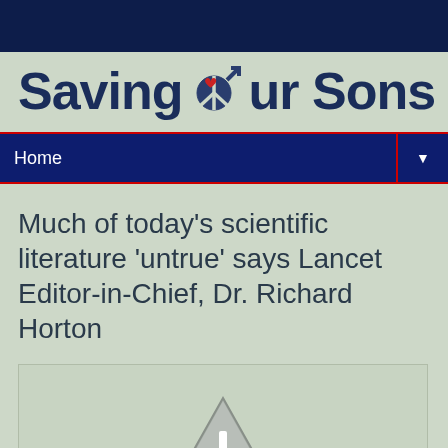Saving Our Sons
Home
Much of today's scientific literature 'untrue' says Lancet Editor-in-Chief, Dr. Richard Horton
[Figure (illustration): Warning/error image placeholder with a grey triangle caution icon]